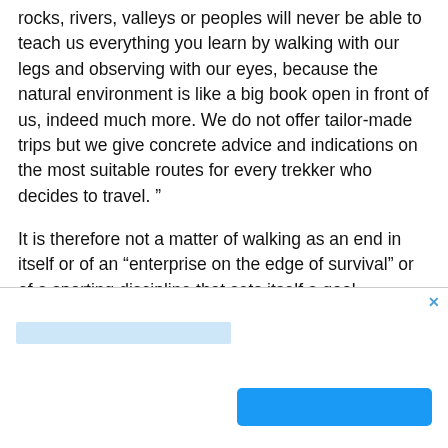rocks, rivers, valleys or peoples will never be able to teach us everything you learn by walking with our legs and observing with our eyes, because the natural environment is like a big book open in front of us, indeed much more. We do not offer tailor-made trips but we give concrete advice and indications on the most suitable routes for every trekker who decides to travel. ”
It is therefore not a matter of walking as an end in itself or of an “enterprise on the edge of survival” or of a sporting discipline that sets itself a goal, because trekking is not only mountains, but first of all careful knowledge of the territory
[Figure (other): Advertisement overlay with a light blue input bar and a blue button, with an X close button in the top right corner.]